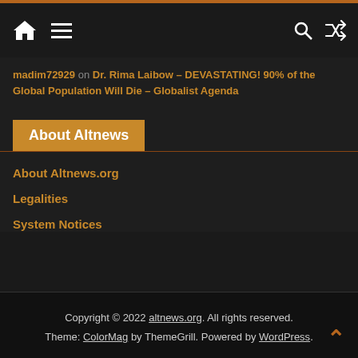Navigation bar with home, menu, search, and shuffle icons
madim72929 on Dr. Rima Laibow – DEVASTATING! 90% of the Global Population Will Die – Globalist Agenda
About Altnews
About Altnews.org
Legalities
System Notices
Copyright © 2022 altnews.org. All rights reserved. Theme: ColorMag by ThemeGrill. Powered by WordPress.